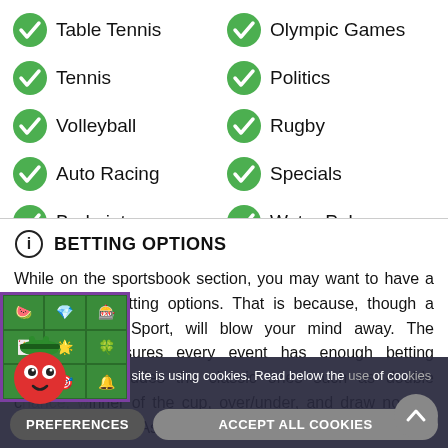Table Tennis
Olympic Games
Tennis
Politics
Volleyball
Rugby
Auto Racing
Specials
Badminton
Water Polo
BETTING OPTIONS
While on the sportsbook section, you may want to have a peek at the betting options. That is because, though a newbie, ZigZagSport, will blow your mind away. The bookmaker ensures every event has enough betting markets. It includes the classic ones such as double chance, winner of the cup, over/under, and draw no bet. Others include handicap, Asian handicap, Asian total,
Please note that this site is using cookies. Read below the use of cookies Cookies policy
PREFERENCES
ACCEPT ALL COOKIES